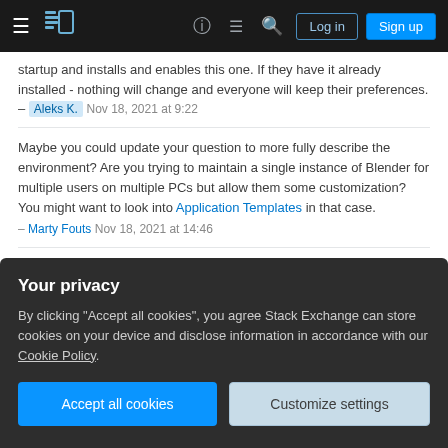Stack Exchange navigation bar with Log in and Sign up buttons
startup and installs and enables this one. If they have it already installed - nothing will change and everyone will keep their preferences. – Aleks K. Nov 18, 2021 at 9:22
Maybe you could update your question to more fully describe the environment? Are you trying to maintain a single instance of Blender for multiple users on multiple PCs but allow them some customization? You might want to look into Application Templates in that case. – Marty Fouts Nov 18, 2021 at 14:46
Add a comment
Sorted by
Your privacy
By clicking "Accept all cookies", you agree Stack Exchange can store cookies on your device and disclose information in accordance with our Cookie Policy.
Accept all cookies
Customize settings